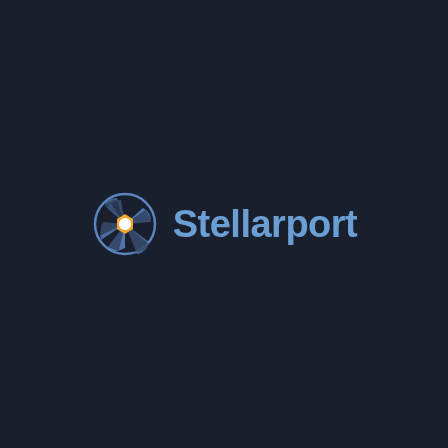[Figure (logo): Stellarport logo: a blue camera aperture/shutter icon with an orange hexagonal center and a white circle dot, followed by the text 'Stellarport' in bold blue-gray sans-serif font, all on a dark navy background.]